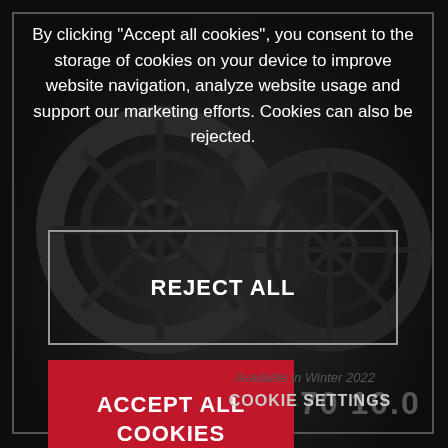By clicking "Accept all cookies", you consent to the storage of cookies on your device to improve website navigation, analyze website usage and support our marketing efforts. Cookies can also be rejected.
REJECT ALL
ACCEPT ALL COOKIES
70 10.0
Available in Winter 2022
COOKIE SETTINGS